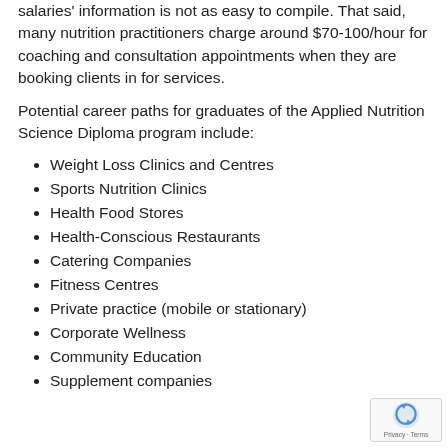salaries' information is not as easy to compile. That said, many nutrition practitioners charge around $70-100/hour for coaching and consultation appointments when they are booking clients in for services.
Potential career paths for graduates of the Applied Nutrition Science Diploma program include:
Weight Loss Clinics and Centres
Sports Nutrition Clinics
Health Food Stores
Health-Conscious Restaurants
Catering Companies
Fitness Centres
Private practice (mobile or stationary)
Corporate Wellness
Community Education
Supplement companies